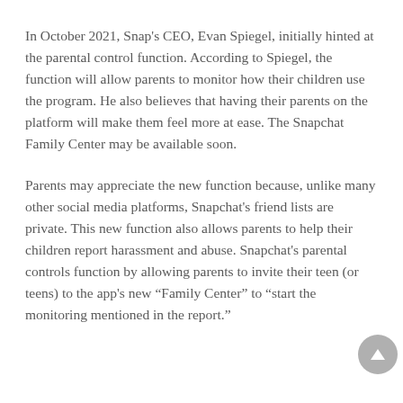In October 2021, Snap's CEO, Evan Spiegel, initially hinted at the parental control function. According to Spiegel, the function will allow parents to monitor how their children use the program. He also believes that having their parents on the platform will make them feel more at ease. The Snapchat Family Center may be available soon.
Parents may appreciate the new function because, unlike many other social media platforms, Snapchat's friend lists are private. This new function also allows parents to help their children report harassment and abuse. Snapchat's parental controls function by allowing parents to invite their teen (or teens) to the app's new “Family Center” to “start the monitoring mentioned in the report.”